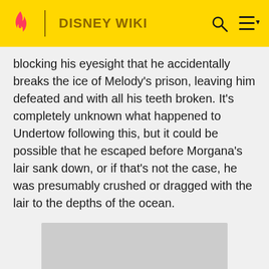DISNEY WIKI
blocking his eyesight that he accidentally breaks the ice of Melody's prison, leaving him defeated and with all his teeth broken. It's completely unknown what happened to Undertow following this, but it could be possible that he escaped before Morgana's lair sank down, or if that's not the case, he was presumably crushed or dragged with the lair to the depths of the ocean.
[Figure (photo): Gray placeholder image rectangle]